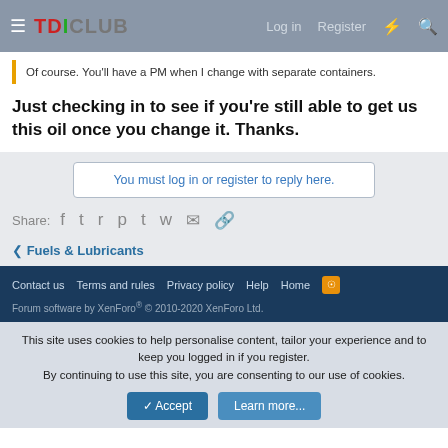TDICLUB — Log in  Register
Of course. You'll have a PM when I change with separate containers.
Just checking in to see if you're still able to get us this oil once you change it. Thanks.
You must log in or register to reply here.
Share:
< Fuels & Lubricants
Contact us  Terms and rules  Privacy policy  Help  Home
Forum software by XenForo® © 2010-2020 XenForo Ltd.
This site uses cookies to help personalise content, tailor your experience and to keep you logged in if you register. By continuing to use this site, you are consenting to our use of cookies.